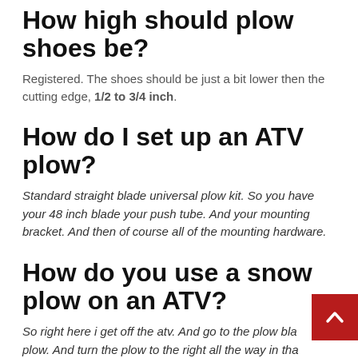How high should plow shoes be?
Registered. The shoes should be just a bit lower then the cutting edge, 1/2 to 3/4 inch.
How do I set up an ATV plow?
Standard straight blade universal plow kit. So you have your 48 inch blade your push tube. And your mounting bracket. And then of course all of the mounting hardware.
How do you use a snow plow on an ATV?
So right here i get off the atv. And go to the plow bla[de of the] plow. And turn the plow to the right all the way in tha[t] direction. So that the snow shoots all the way to the right.